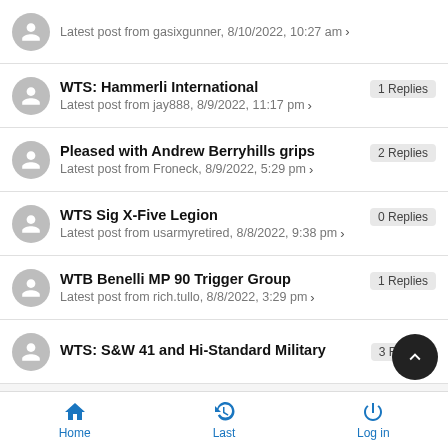Latest post from gasixgunner, 8/10/2022, 10:27 am
WTS: Hammerli International | 1 Replies | Latest post from jay888, 8/9/2022, 11:17 pm
Pleased with Andrew Berryhills grips | 2 Replies | Latest post from Froneck, 8/9/2022, 5:29 pm
WTS Sig X-Five Legion | 0 Replies | Latest post from usarmyretired, 8/8/2022, 9:38 pm
WTB Benelli MP 90 Trigger Group | 1 Replies | Latest post from rich.tullo, 8/8/2022, 3:29 pm
WTS: S&W 41 and Hi-Standard Military | 3 Replies
Home | Last | Log in